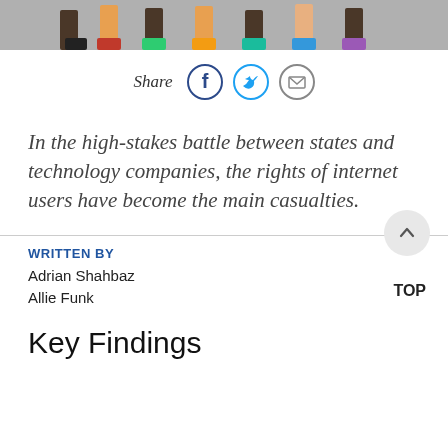[Figure (illustration): Top strip showing cropped illustration of people's feet/legs walking]
Share
[Figure (other): Share icons: Facebook, Twitter, Email]
In the high-stakes battle between states and technology companies, the rights of internet users have become the main casualties.
WRITTEN BY
Adrian Shahbaz
Allie Funk
TOP
Key Findings